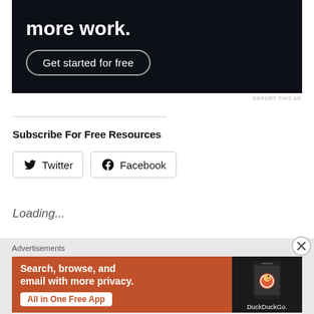[Figure (screenshot): Dark navy advertisement banner with white bold text 'more work.' and a 'Get started for free' button with rounded border]
REPORT THIS AD
Subscribe For Free Resources
[Figure (screenshot): Twitter social media button with bird icon]
[Figure (screenshot): Facebook social media button with 'f' icon]
Loading...
Advertisements
[Figure (screenshot): DuckDuckGo advertisement on orange background: 'Search, browse, and email with more privacy. All in One Free App' with phone image and DuckDuckGo logo]